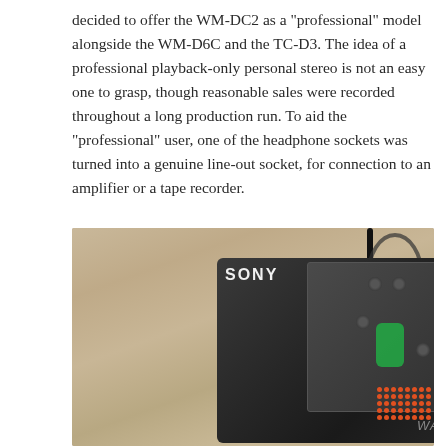decided to offer the WM-DC2 as a “professional” model alongside the WM-D6C and the TC-D3. The idea of a professional playback-only personal stereo is not an easy one to grasp, though reasonable sales were recorded throughout a long production run. To aid the “professional” user, one of the headphone sockets was turned into a genuine line-out socket, for connection to an amplifier or a tape recorder.
[Figure (photo): Photograph of a Sony Walkman WM-DC2 professional cassette player in black, placed on a wooden surface. The device shows the SONY logo and WALKMAN branding, with visible control panel featuring buttons, a green slider switch, and various indicators. A cable is connected at the top, and a coiled cable is visible in the upper right corner.]